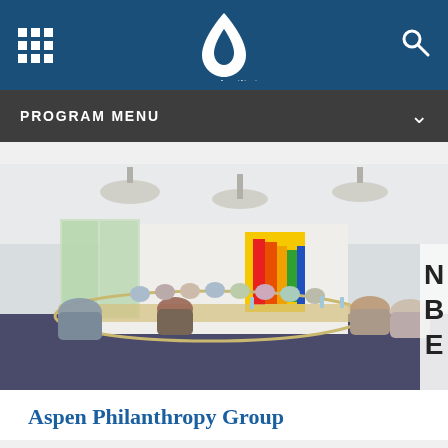Aspen Institute navigation bar with grid menu icon, Aspen Institute logo, and search icon
PROGRAM MENU
[Figure (photo): Conference room photo showing a group of people seated around a large rectangular table arrangement in a bright meeting room with floor-to-ceiling windows, pendant lights, and a colorful abstract artwork on the back wall.]
Aspen Philanthropy Group